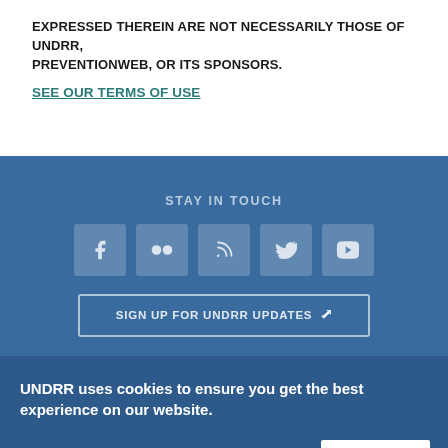EXPRESSED THEREIN ARE NOT NECESSARILY THOSE OF UNDRR, PREVENTIONWEB, OR ITS SPONSORS.
SEE OUR TERMS OF USE
STAY IN TOUCH
[Figure (infographic): Row of five social media icon buttons: Facebook, Flickr, RSS, Twitter, YouTube]
SIGN UP FOR UNDRR UPDATES
UNDRR uses cookies to ensure you get the best experience on our website.
GOT IT!